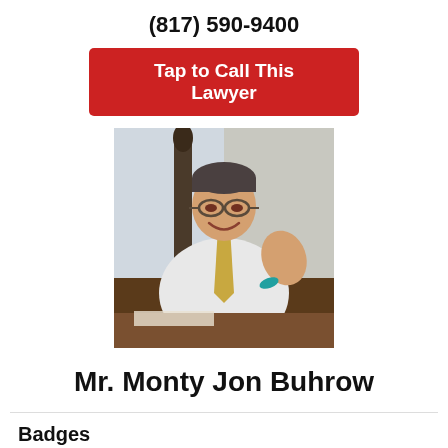(817) 590-9400
Tap to Call This Lawyer
[Figure (photo): Professional photo of Mr. Monty Jon Buhrow, a smiling man in a white shirt and gold tie, seated at a desk, with a Lady Justice statue visible in the background.]
Mr. Monty Jon Buhrow
Badges